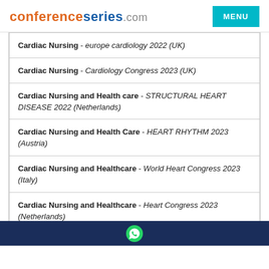conferenceseries.com | MENU
Cardiac Nursing - europe cardiology 2022 (UK)
Cardiac Nursing - Cardiology Congress 2023 (UK)
Cardiac Nursing and Health care - STRUCTURAL HEART DISEASE 2022 (Netherlands)
Cardiac Nursing and Health Care - HEART RHYTHM 2023 (Austria)
Cardiac Nursing and Healthcare - World Heart Congress 2023 (Italy)
Cardiac Nursing and Healthcare - Heart Congress 2023 (Netherlands)